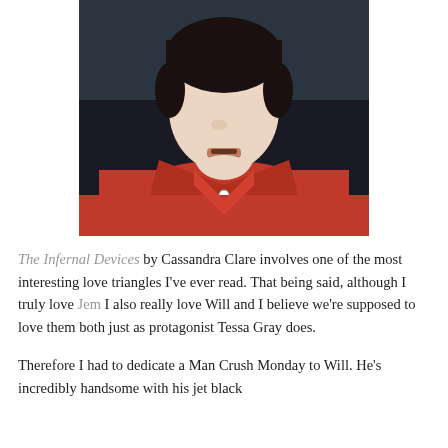[Figure (photo): Close-up photo of a young man with dark hair wearing a red button-down shirt, photographed against a dark background. The photo crops at the neck/chin area showing the lower face and upper torso.]
The Infernal Devices by Cassandra Clare involves one of the most interesting love triangles I've ever read. That being said, although I truly love Jem I also really love Will and I believe we're supposed to love them both just as protagonist Tessa Gray does.
Therefore I had to dedicate a Man Crush Monday to Will. He's incredibly handsome with his jet black